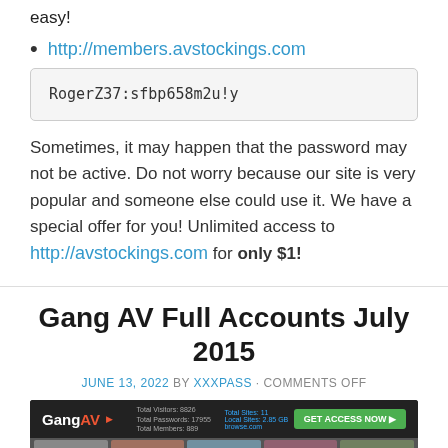easy!
http://members.avstockings.com
RogerZ37:sfbp658m2u!y
Sometimes, it may happen that the password may not be active. Do not worry because our site is very popular and someone else could use it. We have a special offer for you! Unlimited access to http://avstockings.com for only $1!
Gang AV Full Accounts July 2015
JUNE 13, 2022 BY XXXPASS · COMMENTS OFF
[Figure (screenshot): Screenshot of GangAV website header with logo, stats, and GET ACCESS NOW button, followed by thumbnail images]